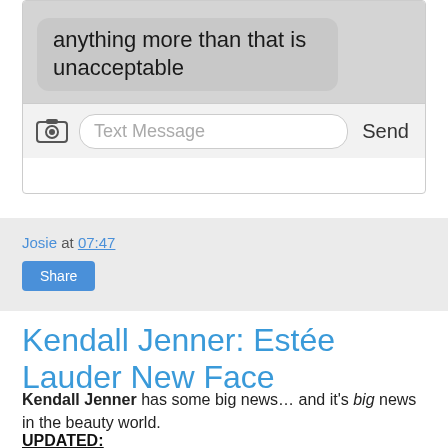[Figure (screenshot): SMS message conversation screenshot showing a message bubble with text 'anything more than that is unacceptable' and an input row with camera icon, Text Message field, and Send button.]
Josie at 07:47
Share
Kendall Jenner: Estée Lauder New Face
Kendall Jenner has some big news… and it's big news in the beauty world.
UPDATED:
Estée Lauder has just posted this beautiful video online: